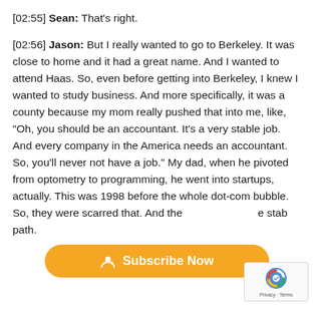[02:55] Sean: That's right.
[02:56] Jason: But I really wanted to go to Berkeley. It was close to home and it had a great name. And I wanted to attend Haas. So, even before getting into Berkeley, I knew I wanted to study business. And more specifically, it was a county because my mom really pushed that into me, like, "Oh, you should be an accountant. It's a very stable job. And every company in the America needs an accountant. So, you'll never not have a job." My dad, when he pivoted from optometry to programming, he went into startups, actually. This was 1998 before the whole dot-com bubble. So, they were scarred that. And the [stable] path.